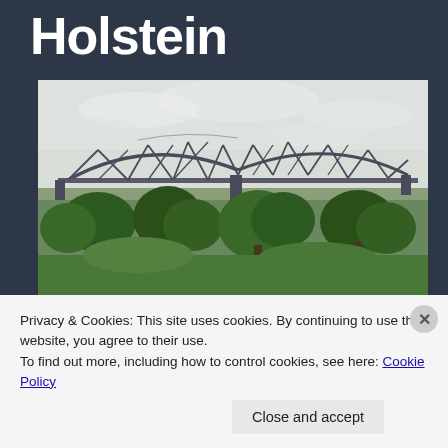Holstein
[Figure (photo): A large steel truss railway bridge spanning across a flat landscape with green trees in the foreground and an overcast sky above.]
Privacy & Cookies: This site uses cookies. By continuing to use this website, you agree to their use.
To find out more, including how to control cookies, see here: Cookie Policy
Close and accept